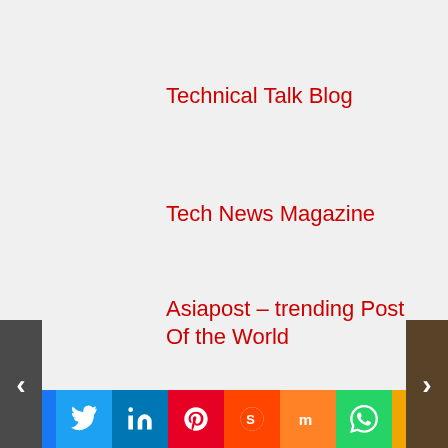Technical Talk Blog
Tech News Magazine
Asiapost – trending Post Of the World
The Hub Of Trending Tech News